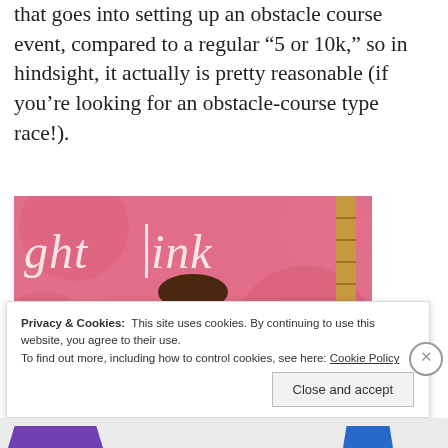that goes into setting up an obstacle course event, compared to a regular “5 or 10k,” so in hindsight, it actually is pretty reasonable (if you’re looking for an obstacle-course type race!).
[Figure (photo): Person standing in front of a pink background banner reading 'ghtlink' (partial). The person has short dark hair, sunglasses, and is smiling. There is a bamboo pole on the right side.]
Privacy & Cookies:  This site uses cookies. By continuing to use this website, you agree to their use.
To find out more, including how to control cookies, see here: Cookie Policy
Close and accept